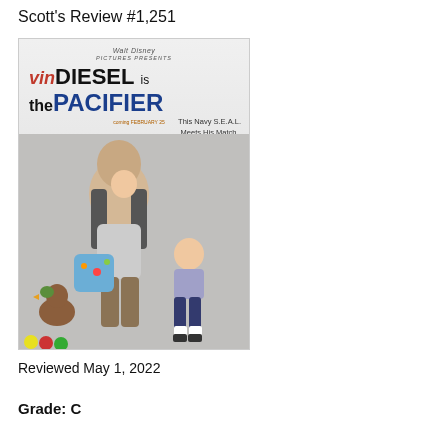Scott's Review #1,251
[Figure (photo): Movie poster for 'The Pacifier' (2005), a Walt Disney Pictures film starring Vin Diesel. The poster shows Vin Diesel carrying children in a baby carrier and holding a baby blue diaper bag, with a young girl standing beside him and a duck at his feet. Text reads: 'vin DIESEL is the PACIFIER' and 'This Navy S.E.A.L. Meets His Match.']
Reviewed May 1, 2022
Grade: C